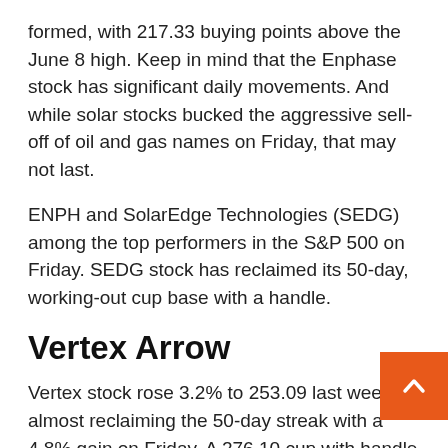formed, with 217.33 buying points above the June 8 high. Keep in mind that the Enphase stock has significant daily movements. And while solar stocks bucked the aggressive sell-off of oil and gas names on Friday, that may not last.
ENPH and SolarEdge Technologies (SEDG) among the top performers in the S&P 500 on Friday. SEDG stock has reclaimed its 50-day, working-out cup base with a handle.
Vertex Arrow
Vertex stock rose 3.2% to 253.09 last week, almost reclaiming the 50-day streak with a 4.8% gain on Friday. A 276.10 cup with handle The point of purchase is no longer valid, so the official entry is 292.85. But investors can use 279.23 as an early entry